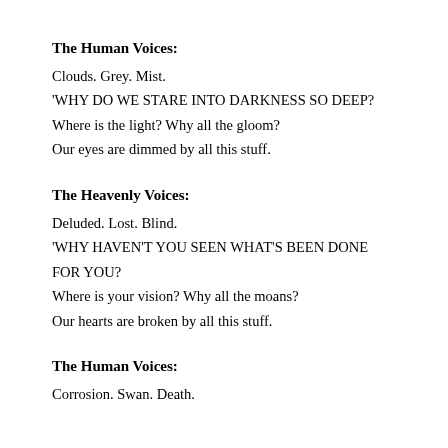The Human Voices:
Clouds. Grey. Mist.
‘WHY DO WE STARE INTO DARKNESS SO DEEP?
Where is the light? Why all the gloom?
Our eyes are dimmed by all this stuff.
The Heavenly Voices:
Deluded. Lost. Blind.
‘WHY HAVEN’T YOU SEEN WHAT’S BEEN DONE FOR YOU?
Where is your vision? Why all the moans?
Our hearts are broken by all this stuff.
The Human Voices:
Corrosion. Swan. Death.